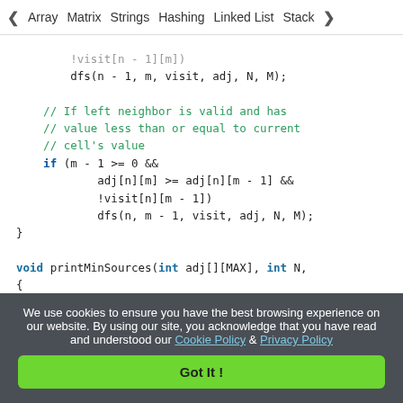◀ Array   Matrix   Strings   Hashing   Linked List   Stack ▶
Code block showing DFS function and printMinSources function in C++
We use cookies to ensure you have the best browsing experience on our website. By using our site, you acknowledge that you have read and understood our Cookie Policy & Privacy Policy
Got It !